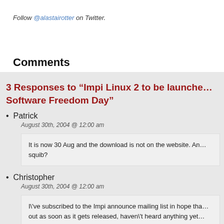Follow @alastairotter on Twitter.
Comments
3 Responses to “Impi Linux 2 to be launched on Software Freedom Day”
Patrick
August 30th, 2004 @ 12:00 am
It is now 30 Aug and the download is not on the website. An... squib?
Christopher
August 30th, 2004 @ 12:00 am
I\'ve subscribed to the Impi announce mailing list in hope tha... out as soon as it gets released, haven\'t heard anything yet...